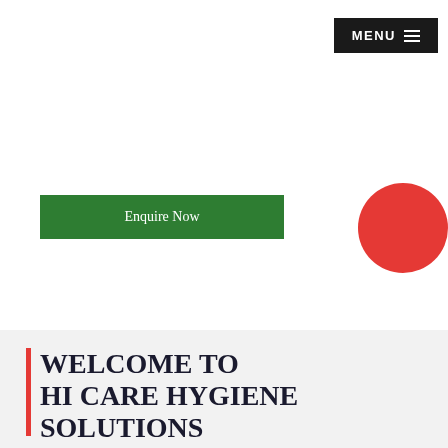[Figure (screenshot): Navigation menu button with dark background, white MENU text and hamburger icon lines]
[Figure (screenshot): Green Enquire Now call-to-action button]
[Figure (illustration): Red circular decorative element in upper right area]
WELCOME TO HI CARE HYGIENE SOLUTIONS